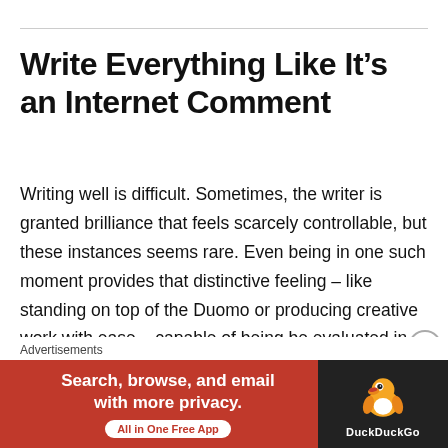Write Everything Like It’s an Internet Comment
Writing well is difficult. Sometimes, the writer is granted brilliance that feels scarcely controllable, but these instances seems rare. Even being in one such moment provides that distinctive feeling – like standing on top of the Duomo or producing creative work with ease – capable of being be evaluated in real time and appreciated for its rarity: “I might never have it so good/easy again.” So how can writing be made easier? Simple: write everything
Advertisements
[Figure (other): DuckDuckGo advertisement banner: orange/red background with text 'Search, browse, and email with more privacy. All in One Free App' and DuckDuckGo duck logo on dark background on the right side.]